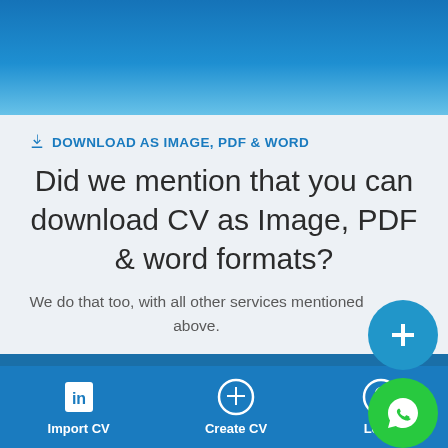[Figure (screenshot): Blue gradient header bar at top of mobile app screen]
DOWNLOAD AS IMAGE, PDF & WORD
Did we mention that you can download CV as Image, PDF & word formats?
We do that too, with all other services mentioned above.
Create Resume Now →
Import CV  Create CV  Login